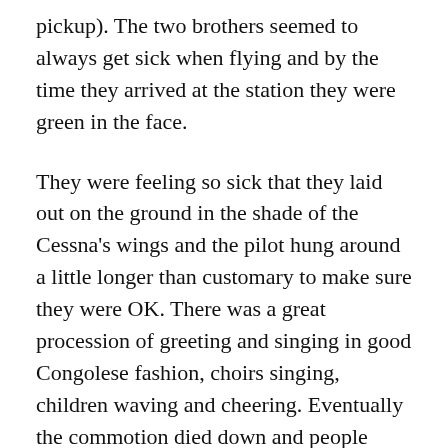pickup). The two brothers seemed to always get sick when flying and by the time they arrived at the station they were green in the face.
They were feeling so sick that they laid out on the ground in the shade of the Cessna’s wings and the pilot hung around a little longer than customary to make sure they were OK. There was a great procession of greeting and singing in good Congolese fashion, choirs singing, children waving and cheering. Eventually the commotion died down and people trickled away when they understood there would be some delay until these boys recovered.
The unusual delay brought just the right